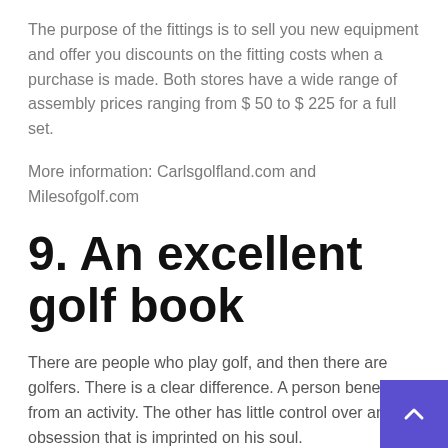The purpose of the fittings is to sell you new equipment and offer you discounts on the fitting costs when a purchase is made. Both stores have a wide range of assembly prices ranging from $ 50 to $ 225 for a full set.
More information: Carlsgolfland.com and Milesofgolf.com
9. An excellent golf book
There are people who play golf, and then there are golfers. There is a clear difference. A person benefits from an activity. The other has little control over an obsession that is imprinted on his soul.
If your recipient is the latter, please do not purchase a